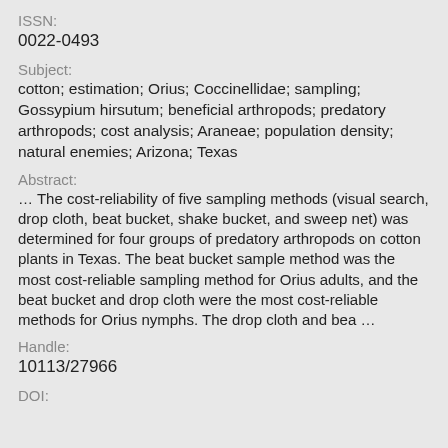ISSN:
0022-0493
Subject:
cotton; estimation; Orius; Coccinellidae; sampling; Gossypium hirsutum; beneficial arthropods; predatory arthropods; cost analysis; Araneae; population density; natural enemies; Arizona; Texas
Abstract:
… The cost-reliability of five sampling methods (visual search, drop cloth, beat bucket, shake bucket, and sweep net) was determined for four groups of predatory arthropods on cotton plants in Texas. The beat bucket sample method was the most cost-reliable sampling method for Orius adults, and the beat bucket and drop cloth were the most cost-reliable methods for Orius nymphs. The drop cloth and bea …
Handle:
10113/27966
DOI: